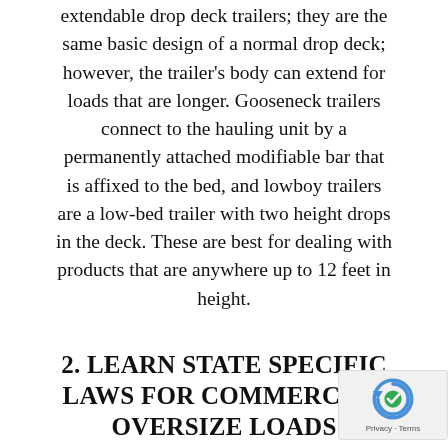extendable drop deck trailers; they are the same basic design of a normal drop deck; however, the trailer's body can extend for loads that are longer. Gooseneck trailers connect to the hauling unit by a permanently attached modifiable bar that is affixed to the bed, and lowboy trailers are a low-bed trailer with two height drops in the deck. These are best for dealing with products that are anywhere up to 12 feet in height.
2. LEARN STATE SPECIFIC LAWS FOR COMMERCIAL OVERSIZE LOADS
Each state deals with oversized loads, but their laws surrounding these hauls often differ. In many places throughout the U.S., oversized loads require pilot vehicles to escort the